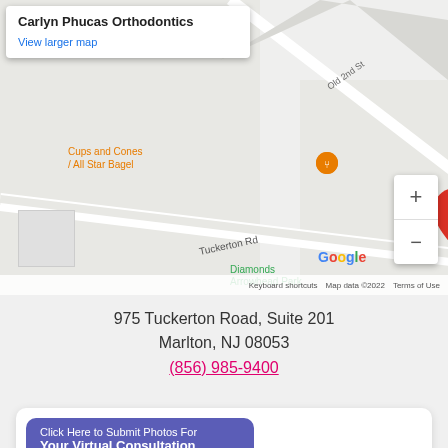[Figure (map): Google Maps screenshot showing location of Carlyn Phucas Orthodontics at 975 Tuckerton Road, Marlton NJ. Shows surrounding area including Cups and Cones/All Star Bagel, Evesham Library, Diamonds Arrowhead Park, and street Old 2nd St and Tuckerton Rd. Red pin marks the orthodontics location.]
975 Tuckerton Road, Suite 201
Marlton, NJ 08053
(856) 985-9400
Click Here to Submit Photos For Your Virtual Consultation